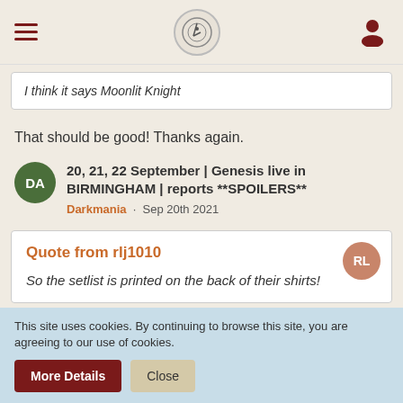Navigation header with hamburger menu, logo, and user icon
I think it says Moonlit Knight
That should be good! Thanks again.
20, 21, 22 September | Genesis live in BIRMINGHAM | reports **SPOILERS**
Darkmania · Sep 20th 2021
Quote from rlj1010
So the setlist is printed on the back of their shirts!
This site uses cookies. By continuing to browse this site, you are agreeing to our use of cookies.